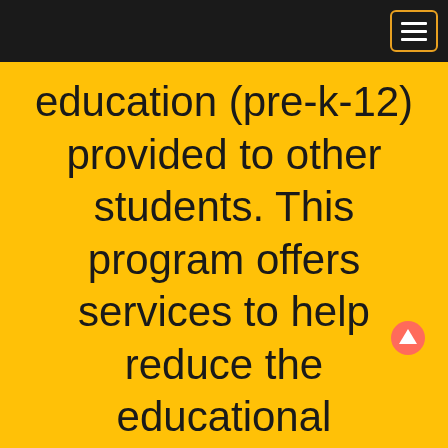education (pre-k-12) provided to other students. This program offers services to help reduce the educational disruptions and other problems that result from repeated moves